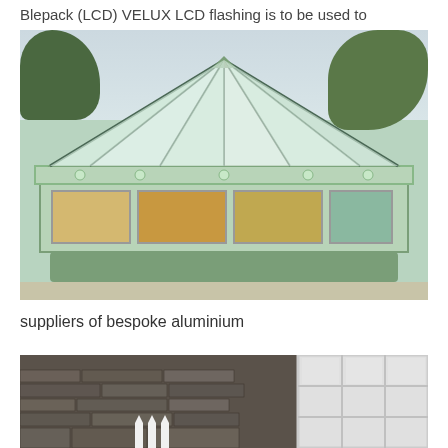Blepack (LCD) VELUX LCD flashing is to be used to
[Figure (photo): Photograph of a bespoke green aluminium octagonal conservatory with conical glazed roof, multiple windows, and green rendered base, set outdoors with trees in background]
suppliers of bespoke aluminium
[Figure (photo): Partial photograph showing a stone wall exterior with a white-framed multi-pane window on the right side, and a white decorative fence element at the bottom centre]